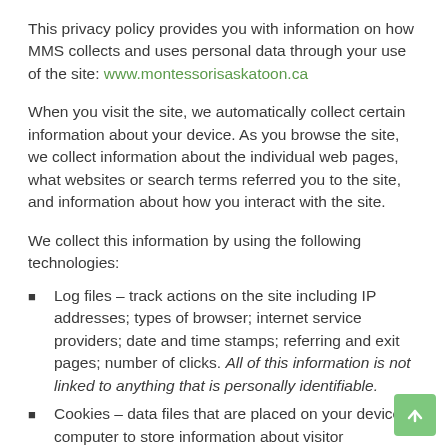This privacy policy provides you with information on how MMS collects and uses personal data through your use of the site: www.montessorisaskatoon.ca
When you visit the site, we automatically collect certain information about your device. As you browse the site, we collect information about the individual web pages, what websites or search terms referred you to the site, and information about how you interact with the site.
We collect this information by using the following technologies:
Log files – track actions on the site including IP addresses; types of browser; internet service providers; date and time stamps; referring and exit pages; number of clicks. All of this information is not linked to anything that is personally identifiable.
Cookies – data files that are placed on your device or computer to store information about visitor